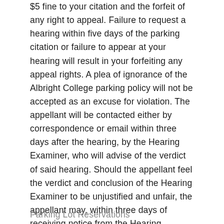$5 fine to your citation and the forfeit of any right to appeal. Failure to request a hearing within five days of the parking citation or failure to appear at your hearing will result in your forfeiting any appeal rights. A plea of ignorance of the Albright College parking policy will not be accepted as an excuse for violation. The appellant will be contacted either by correspondence or email within three days after the hearing, by the Hearing Examiner, who will advise of the verdict of said hearing. Should the appellant feel the verdict and conclusion of the Hearing Examiner to be unjustified and unfair, the appellant may, within three days of receiving notice from the Hearing Examiner, contact Department of Public Safety by phone or email, to request an additional hearing of the appeal. A date and time will be scheduled for said hearing, which will be conducted and administered by the Director of the Department of Public Safety. The decision by the director will be final and absolute.
Parking Lot Reservations